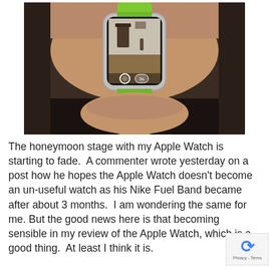[Figure (photo): Photo of an Apple Watch with a green sport band worn on a wrist. The watch screen shows the Camera Remote app with a live view of a room interior, a circular shutter button, and a '3s' timer button.]
The honeymoon stage with my Apple Watch is starting to fade.  A commenter wrote yesterday on a post how he hopes the Apple Watch doesn't become an un-useful watch as his Nike Fuel Band became after about 3 months.  I am wondering the same for me. But the good news here is that becoming sensible in my review of the Apple Watch, which is a good thing.  At least I think it is.